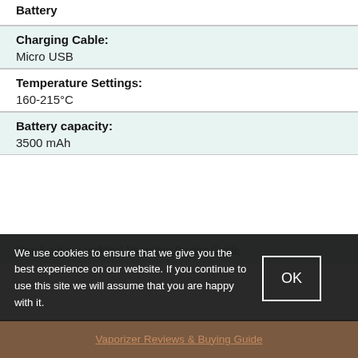| Battery: |  |
| Charging Cable: | Micro USB |
| Temperature Settings: | 160-215°C |
| Battery capacity: | 3500 mAh |
We use cookies to ensure that we give you the best experience on our website. If you continue to use this site we will assume that you are happy with it.
OK
Check out our updated Vaporizer Buying Guide
Vaporizer Reviews & Buying Guide